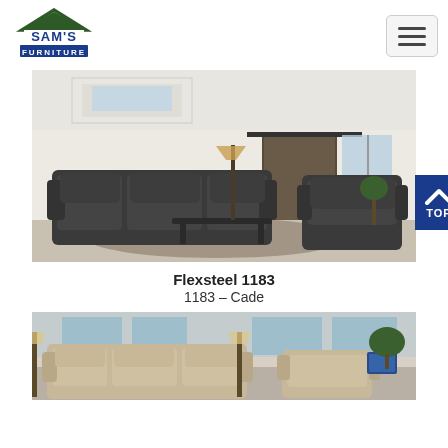[Figure (logo): Sam's Furniture logo — green house roof icon above blue rectangle with white text FURNITURE]
[Figure (photo): Dark charcoal leather recliner sofa set (three-seater and armchair) in a bright modern living room with barn door sliding door, pendant lamp, and area rug]
Flexsteel 1183
1183 – Cade
[Figure (photo): Cream/beige leather recliner sofa set in a showroom setting with lamps and greenery in background]